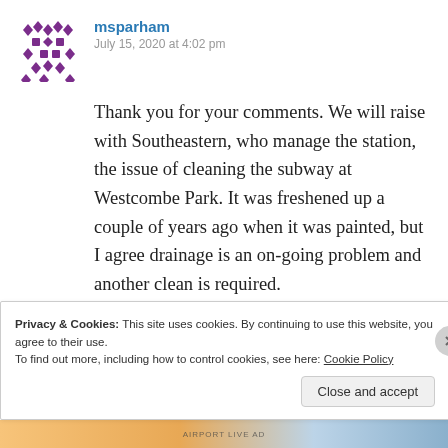[Figure (illustration): Purple mosaic/geometric avatar icon for user msparham]
msparham
July 15, 2020 at 4:02 pm
Thank you for your comments. We will raise with Southeastern, who manage the station, the issue of cleaning the subway at Westcombe Park. It was freshened up a couple of years ago when it was painted, but I agree drainage is an on-going problem and another clean is required.
Privacy & Cookies: This site uses cookies. By continuing to use this website, you agree to their use.
To find out more, including how to control cookies, see here: Cookie Policy
Close and accept